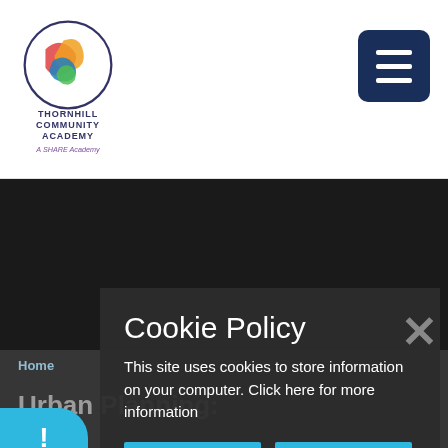[Figure (logo): Thornhill Community Academy logo — circular design with colorful swirl, text reads THORNHILL COMMUNITY ACADEMY, A SHARE Academy]
[Figure (other): Hamburger menu button — dark navy blue rounded square with three white horizontal bars]
[Figure (other): Dark hero image area — solid dark/black background]
Home
Urban Planning:
Cookie Policy
This site uses cookies to store information on your computer. Click here for more information
Allow Cookies
Deny Cookies